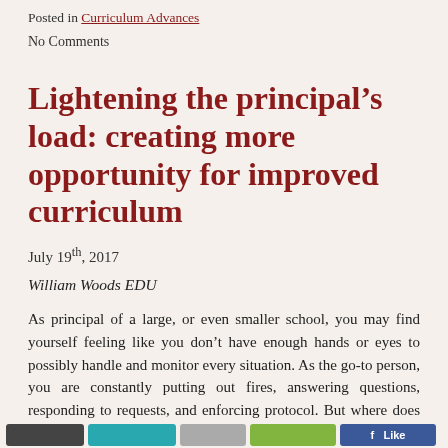Posted in Curriculum Advances
No Comments
Lightening the principal’s load: creating more opportunity for improved curriculum
July 19th, 2017
William Woods EDU
As principal of a large, or even smaller school, you may find yourself feeling like you don’t have enough hands or eyes to possibly handle and monitor every situation. As the go-to person, you are constantly putting out fires, answering questions, responding to requests, and enforcing protocol. But where does that leave time for observing [...]